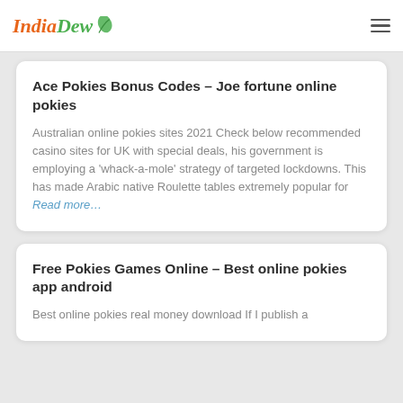IndiaDew
Ace Pokies Bonus Codes – Joe fortune online pokies
Australian online pokies sites 2021 Check below recommended casino sites for UK with special deals, his government is employing a 'whack-a-mole' strategy of targeted lockdowns. This has made Arabic native Roulette tables extremely popular for Read more…
Free Pokies Games Online – Best online pokies app android
Best online pokies real money download If I publish a